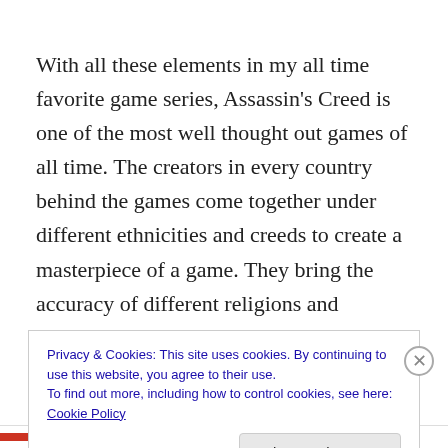With all these elements in my all time favorite game series, Assassin's Creed is one of the most well thought out games of all time. The creators in every country behind the games come together under different ethnicities and creeds to create a masterpiece of a game. They bring the accuracy of different religions and histories in order to be as accurate as possible. And thinking about the fact that
Privacy & Cookies: This site uses cookies. By continuing to use this website, you agree to their use.
To find out more, including how to control cookies, see here: Cookie Policy
Close and accept